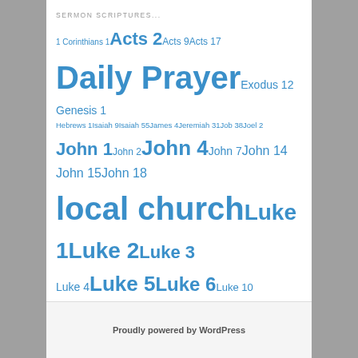SERMON SCRIPTURES...
1 Corinthians 1 Acts 2 Acts 9 Acts 17 Daily Prayer Exodus 12 Genesis 1 Hebrews 1 Isaiah 9 Isaiah 55 James 4 Jeremiah 31 Job 38 Joel 2 John 1 John 2 John 4 John 7 John 14 John 15 John 18 local church Luke 1 Luke 2 Luke 3 Luke 4 Luke 5 Luke 6 Luke 10 Luke 13 Luke 16 Luke 17 Luke 19 Luke 24 Mark 1 Mark 13 Matthew 2 Matthew 13 Matthew 25 peace Philippians 1 Philippians 2 Psalm 23 Revelation 21 Week of Prayer
Proudly powered by WordPress